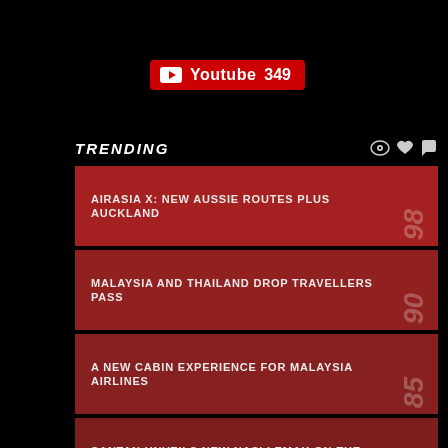[Figure (other): YouTube subscribe button showing count 349]
TRENDING
AIRASIA X: NEW AUSSIE ROUTES PLUS AUCKLAND — 98
MALAYSIA AND THAILAND DROP TRAVELLERS PASS — 90
A NEW CABIN EXPERIENCE FOR MALAYSIA AIRLINES — 85
SANTAN UNVEILS NEW NASI LEMAK ON-THE-GO — 84
BATIK AIR MALAYSIA CELEBRATES WITH NEW BOEING 737-8 — 83